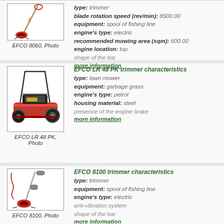[Figure (photo): EFCO 8060 trimmer product photo]
EFCO 8060, Photo
type: trimmer
blade rotation speed (rev/min): 8500.00
equipment: spool of fishing line
engine's type: electric
recommended mowing area (sqm): 600.00
engine location: top
shape of the bar
more information
[Figure (photo): EFCO LR 48 PK lawn mower product photo]
EFCO LR 48 PK, Photo
EFCO LR 48 PK trimmer characteristics
type: lawn mower
equipment: garbage grass
engine's type: petrol
housing material: steel
presence of the engine brake
more information
[Figure (photo): EFCO 8100 trimmer product photo]
EFCO 8100, Photo
EFCO 8100 trimmer characteristics
type: trimmer
equipment: spool of fishing line
engine's type: electric
anti-vibration system
shape of the bar
more information